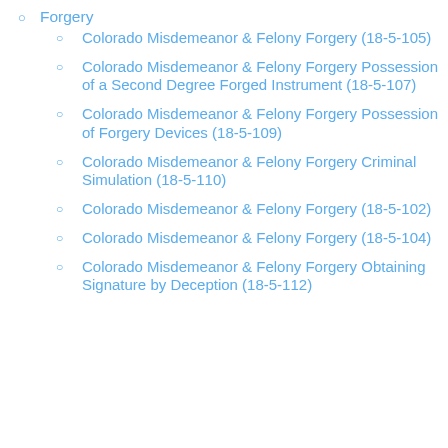Forgery
Colorado Misdemeanor & Felony Forgery (18-5-105)
Colorado Misdemeanor & Felony Forgery Possession of a Second Degree Forged Instrument (18-5-107)
Colorado Misdemeanor & Felony Forgery Possession of Forgery Devices (18-5-109)
Colorado Misdemeanor & Felony Forgery Criminal Simulation (18-5-110)
Colorado Misdemeanor & Felony Forgery (18-5-102)
Colorado Misdemeanor & Felony Forgery (18-5-104)
Colorado Misdemeanor & Felony Forgery Obtaining Signature by Deception (18-5-112)